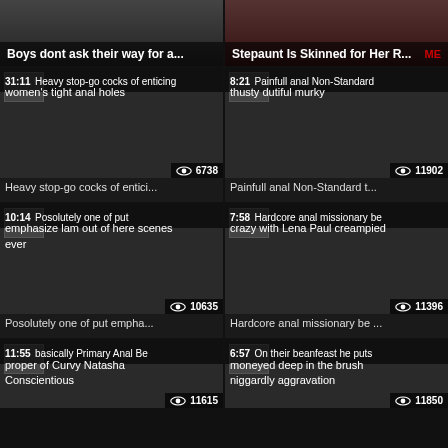[Figure (screenshot): Video thumbnail grid showing adult video website interface with 6 video thumbnails in 2-column layout]
Boys dont ask their way for a...
Stepaunt Is Skinned for Her R...
31:11 | Heavy stop-go cocks of enticing women's tight anal holes | 6738 views
8:21 | Painfull anal Non-Standard thusty dutiful murky | 11902 views
Heavy stop-go cocks of entici...
Painfull anal Non-Standard t...
10:14 | Posolutely one of put emphasize lam out of here scenes ever | 10635 views
7:58 | Hardcore anal missionary be crazy with Lena Paul creampied | 11396 views
Posolutely one of put empha...
Hardcore anal missionary be ...
11:55 | basically Primary Anal Be proper of Curvy Natasha Conscientious | 11615 views
6:57 | On their beanfeast he puts moneyed deep in the brush niggardly aggravation | 11850 views